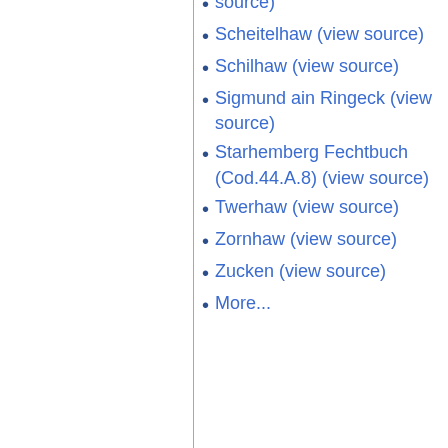source)
Scheitelhaw (view source)
Schilhaw (view source)
Sigmund ain Ringeck (view source)
Starhemberg Fechtbuch (Cod.44.A.8) (view source)
Twerhaw (view source)
Zornhaw (view source)
Zucken (view source)
More...
Privacy policy   About Wiktenauer   Copyright and licensing information
[Figure (logo): Powered by MediaWiki badge]
[Figure (logo): HEMA Alliance logo]
[Figure (logo): Semantic MediaWiki logo]